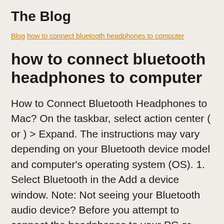The Blog
Blog how to connect bluetooth headphones to computer
how to connect bluetooth headphones to computer
How to Connect Bluetooth Headphones to Mac? On the taskbar, select action center ( or ) > Expand. The instructions may vary depending on your Bluetooth device model and computer's operating system (OS). 1. Select Bluetooth in the Add a device window. Note: Not seeing your Bluetooth audio device? Before you attempt to connect the headphones to your PC or Mac, you have to make sure they are ready to be connected first. If you really can't stand to see another ad again, then please